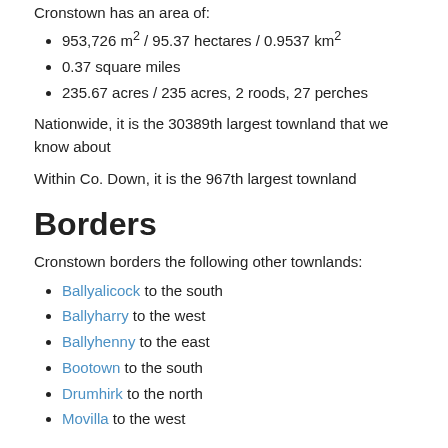Cronstown has an area of:
953,726 m² / 95.37 hectares / 0.9537 km²
0.37 square miles
235.67 acres / 235 acres, 2 roods, 27 perches
Nationwide, it is the 30389th largest townland that we know about
Within Co. Down, it is the 967th largest townland
Borders
Cronstown borders the following other townlands:
Ballyalicock to the south
Ballyharry to the west
Ballyhenny to the east
Bootown to the south
Drumhirk to the north
Movilla to the west
Subtownlands
We don't know about any subtownlands in Cronstown.